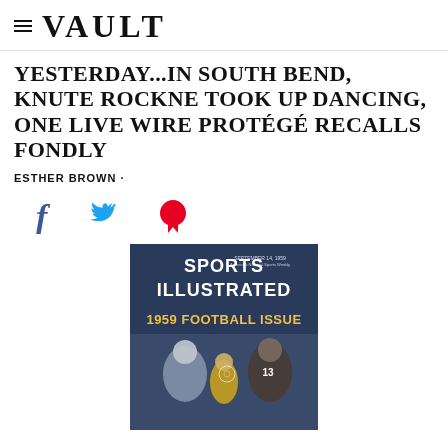≡ VAULT
YESTERDAY...IN SOUTH BEND, KNUTE ROCKNE TOOK UP DANCING, ONE LIVE WIRE PROTÉGÉ RECALLS FONDLY
ESTHER BROWN ·
[Figure (infographic): Social media share icons: Facebook (f), Twitter (bird), Pinterest (p)]
[Figure (photo): Sports Illustrated 1959 Football Issue magazine cover showing football players]